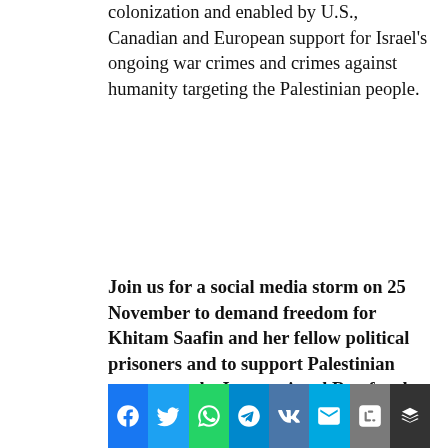colonization and enabled by U.S., Canadian and European support for Israel's ongoing war crimes and crimes against humanity targeting the Palestinian people.
Join us for a social media storm on 25 November to demand freedom for Khitam Saafin and her fellow political prisoners and to support Palestinian women on the International Day for the Elimination of Violence Against Women.
Use these sample tweets for your
[Figure (other): Social media share buttons row: Facebook, Twitter, WhatsApp, Telegram, VK, Email, Blogger, Buffer]